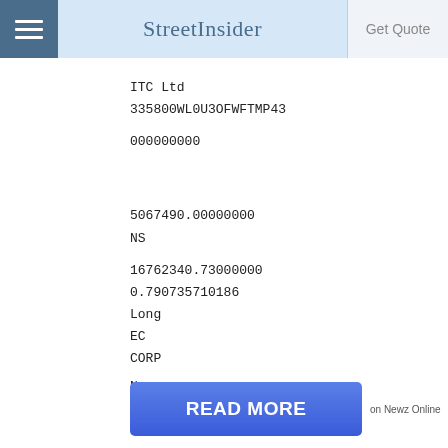StreetInsider | Get Quote
ITC Ltd
335800WL0U3OFWFTMP43
000000000
5067490.00000000
NS
16762340.73000000
0.790735710186
Long
EC
CORP
IN
N
1
N
N
N